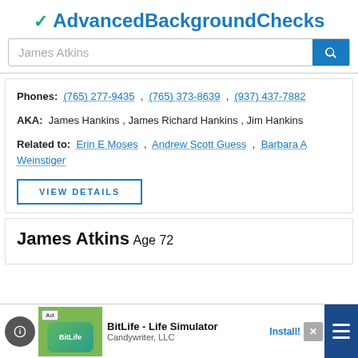AdvancedBackgroundChecks
James Atkins (search box)
Phones: (765) 277-9435 , (765) 373-8639 , (937) 437-7882
AKA: James Hankins , James Richard Hankins , Jim Hankins
Related to: Erin E Moses , Andrew Scott Guess , Barbara A Weinstiger
VIEW DETAILS
James Atkins Age 72